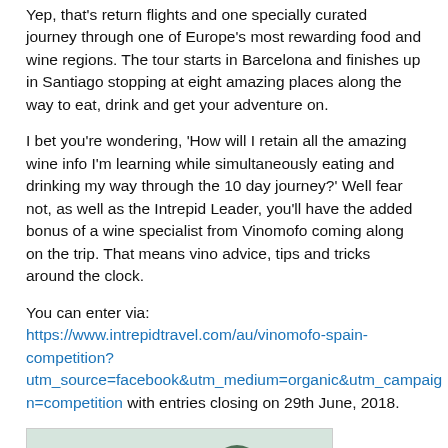Yep, that's return flights and one specially curated journey through one of Europe's most rewarding food and wine regions. The tour starts in Barcelona and finishes up in Santiago stopping at eight amazing places along the way to eat, drink and get your adventure on.
I bet you're wondering, 'How will I retain all the amazing wine info I'm learning while simultaneously eating and drinking my way through the 10 day journey?' Well fear not, as well as the Intrepid Leader, you'll have the added bonus of a wine specialist from Vinomofo coming along on the trip. That means vino advice, tips and tricks around the clock.
You can enter via: https://www.intrepidtravel.com/au/vinomofo-spain-competition?utm_source=facebook&utm_medium=organic&utm_campaign=competition with entries closing on 29th June, 2018.
[Figure (photo): Snowy trees landscape photo, partially visible at bottom of page]